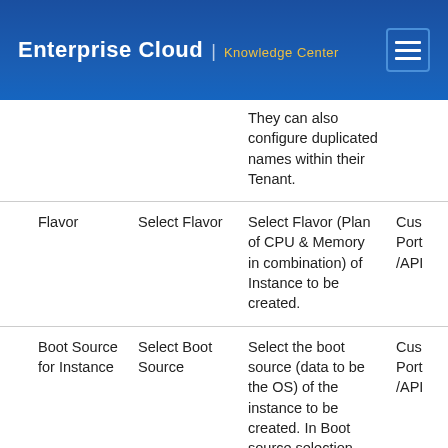Enterprise Cloud | Knowledge Center
|  | Field | Label | Description | Custom/Portal/API |
| --- | --- | --- | --- | --- |
|  |  |  | They can also configure duplicated names within their Tenant. | ... |
|  | Flavor | Select Flavor | Select Flavor (Plan of CPU & Memory in combination) of Instance to be created. | Cus... Port... /API... |
|  | Boot Source for Instance | Select Boot Source | Select the boot source (data to be the OS) of the instance to be created. In Boot source selection... | Cus... Port... /API... |